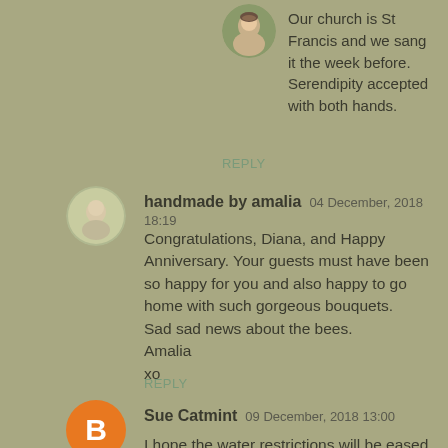[Figure (photo): Small circular avatar photo of a woman outdoors]
Our church is St Francis and we sang it the week before. Serendipity accepted with both hands.
REPLY
[Figure (photo): Small circular avatar photo]
handmade by amalia  04 December, 2018 18:19
Congratulations, Diana, and Happy Anniversary. Your guests must have been so happy for you and also happy to go home with such gorgeous bouquets.
Sad sad news about the bees.
Amalia
xo
REPLY
[Figure (logo): Orange circle with white letter B, Blogger icon]
Sue Catmint  09 December, 2018 13:00
I hope the water restrictions will be eased, but I imagine you will have been changed by this experience and never be profligate with water again. Congrats to Ungardener for his birthday. Loving cake to suit obviously loving couple.